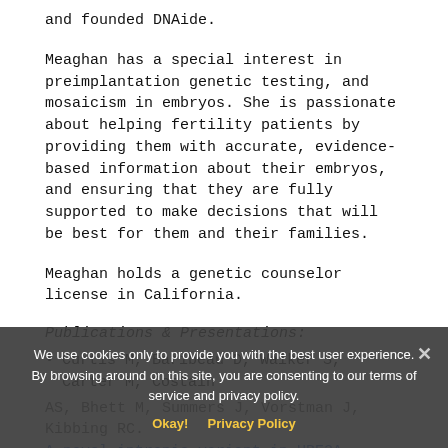and founded DNAide.
Meaghan has a special interest in preimplantation genetic testing, and mosaicism in embryos. She is passionate about helping fertility patients by providing them with accurate, evidence-based information about their embryos, and ensuring that they are fully supported to make decisions that will be best for them and their families.
Meaghan holds a genetic counselor license in California.
Publications & Presentations:
Curtis M, Baribeau D, Walker S, Carter M, Costain
AS, Bhett M, Summers J, Vorstman J, Kibbing RC. A novel intronic variant in UBE3A identified by genome sequencing in a patient with an atypical
We use cookies only to provide you with the best user experience. By browsing around on this site, you are consenting to our terms of service and privacy policy.
Okay!   Privacy Policy